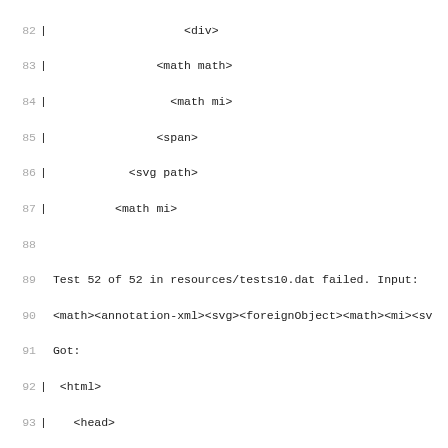Code listing showing test output lines 82–114, including tree structure of HTML/MathML nodes, test failure message for Test 52 of 52 in resources/tests10.dat, Got and Expected sections.